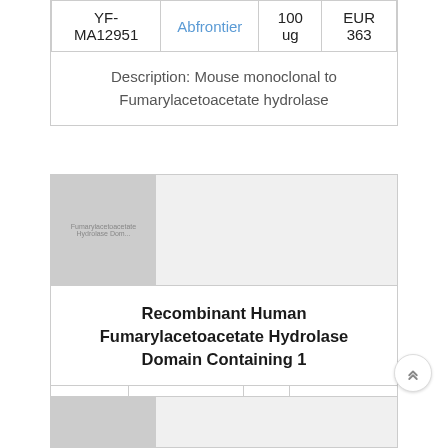| ID | Supplier | Amount | Price |
| --- | --- | --- | --- |
| YF-MA12951 | Abfrontier | 100 ug | EUR 363 |
| Description: Mouse monoclonal to Fumarylacetoacetate hydrolase |  |  |  |
[Figure (photo): Product image placeholder for Fumarylacetoacetate Hydrolase Domain product]
Recombinant Human Fumarylacetoacetate Hydrolase Domain Containing 1
| ID | Supplier | Amount | Price |
| --- | --- | --- | --- |
| 7-02743 | CHI Scientific | 5μg | Ask for price |